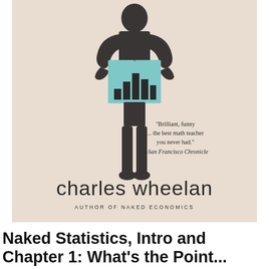[Figure (photo): Book cover of 'Naked Statistics' by Charles Wheelan, showing a dark silhouette figure of a person with a teal/light blue bar chart square covering the midsection. The cover has a light beige background. A pull quote reads: 'Brilliant, funny ... the best math teacher you never had.' —San Francisco Chronicle. Below the figure is the author name 'charles wheelan' in large light font, and 'AUTHOR OF NAKED ECONOMICS' in small caps beneath.]
Naked Statistics, Intro and Chapter 1: What's the Point...